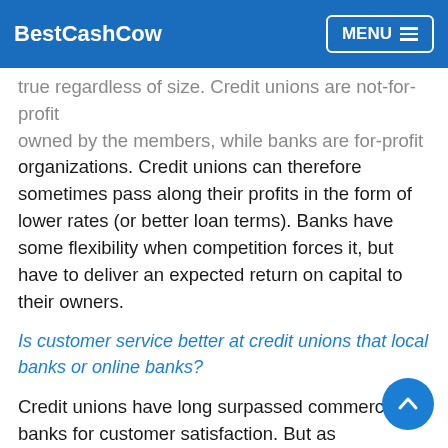BestCashCow | MENU
true regardless of size. Credit unions are not-for-profit organizations owned by the members, while banks are for-profit organizations. Credit unions can therefore sometimes pass along their profits in the form of lower rates (or better loan terms). Banks have some flexibility when competition forces it, but have to deliver an expected return on capital to their owners.
Is customer service better at credit unions that local banks or online banks?
Credit unions have long surpassed commercial banks for customer satisfaction. But as membership grows, their lead is shrinking, at least when compared with smaller banks. It's also worth noting that in recent years, several online-only banks have earned high marks for their customer-friendly service options and their transparent discussions of fees and rates. You may enjoy the local interaction with a credit union, but